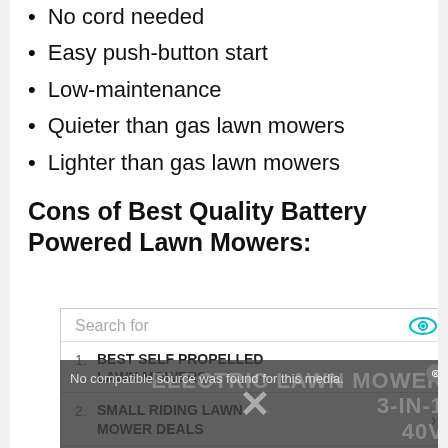No cord needed
Easy push-button start
Low-maintenance
Quieter than gas lawn mowers
Lighter than gas lawn mowers
Cons of Best Quality Battery Powered Lawn Mowers:
[Figure (screenshot): Search ad widget with 5 sponsored search results for lawn mower related queries, overlaid partially by a video player overlay showing 'No compatible source was found for this media.' with an X close button and background text 'ELECTRIC LAWN MOWER 3-IN-1 40V']